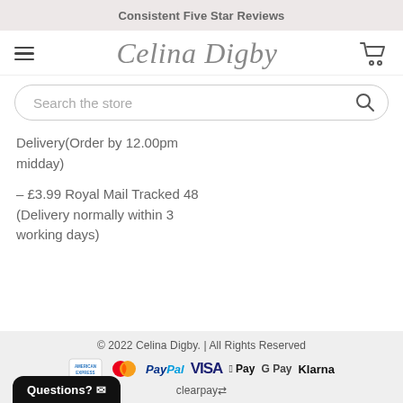Consistent Five Star Reviews
[Figure (logo): Celina Digby brand logo in cursive script with hamburger menu icon on left and shopping cart icon on right]
[Figure (screenshot): Search bar with placeholder text 'Search the store' and magnifying glass icon]
Delivery(Order by 12.00pm midday)
– £3.99 Royal Mail Tracked 48 (Delivery normally within 3 working days)
© 2022 Celina Digby. | All Rights Reserved
[Figure (logo): Payment method logos: American Express, MasterCard, PayPal, VISA, Apple Pay, G Pay, Klarna, Clearpay]